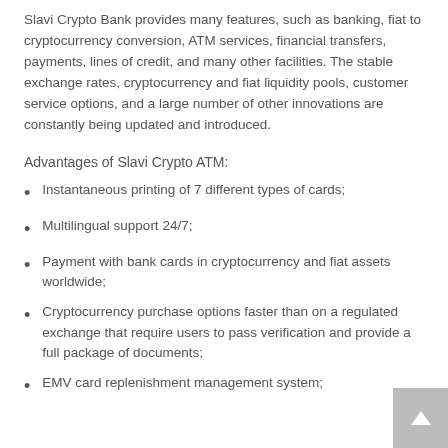Slavi Crypto Bank provides many features, such as banking, fiat to cryptocurrency conversion, ATM services, financial transfers, payments, lines of credit, and many other facilities. The stable exchange rates, cryptocurrency and fiat liquidity pools, customer service options, and a large number of other innovations are constantly being updated and introduced.
Advantages of Slavi Crypto ATM:
Instantaneous printing of 7 different types of cards;
Multilingual support 24/7;
Payment with bank cards in cryptocurrency and fiat assets worldwide;
Cryptocurrency purchase options faster than on a regulated exchange that require users to pass verification and provide a full package of documents;
EMV card replenishment management system;